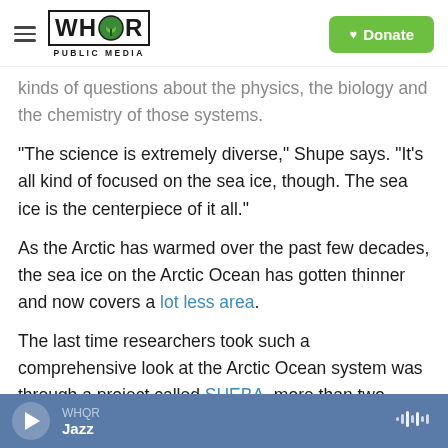WHQR PUBLIC MEDIA | Donate
kinds of questions about the physics, the biology and the chemistry of those systems.
"The science is extremely diverse," Shupe says. "It's all kind of focused on the sea ice, though. The sea ice is the centerpiece of it all."
As the Arctic has warmed over the past few decades, the sea ice on the Arctic Ocean has gotten thinner and now covers a lot less area.
The last time researchers took such a comprehensive look at the Arctic Ocean system was through a project called SHEBA, more than two
WHQR Jazz